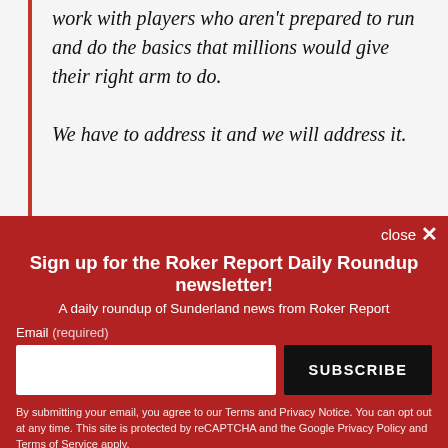work with players who aren't prepared to run and do the basics that millions would give their right arm to do.

We have to address it and we will address it.
He then added:
Sign up for the Roker Report Daily Roundup newsletter!
A daily roundup of Sunderland news from Roker Report
Email (required)
By submitting your email, you agree to our Terms and Privacy Notice. You can opt out at any time. This site is protected by reCAPTCHA and the Google Privacy Policy and Terms of Service apply.